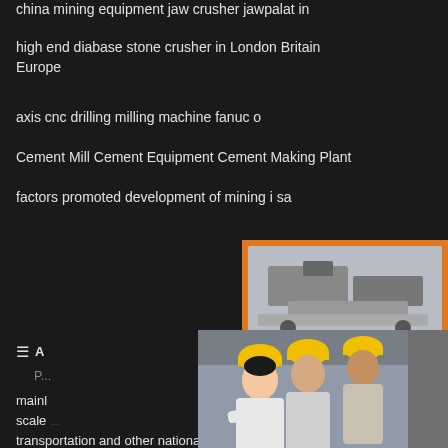china mining equipment jaw crusher jawpalat in
high end diabase stone crusher in London Britain Europe
axis cnc drilling milling machine fanuc o
Cement Mill Cement Equipment Cement Making Plant
factors promoted development of mining i sa
mainly ... scale ... transportation and other national infrastructure construction projects, as well as providing tec solutions and supporting products.
[Figure (photo): Live chat popup showing workers in safety helmets, with LIVE CHAT heading, Click for a Free Consultation text, Chat now and Chat later buttons]
[Figure (photo): Orange sidebar advertisement panel with mining/crushing machinery images, Enjoy 3% discount, Click to Chat, Enquiry, and limingjlmofen@sina.com contact info]